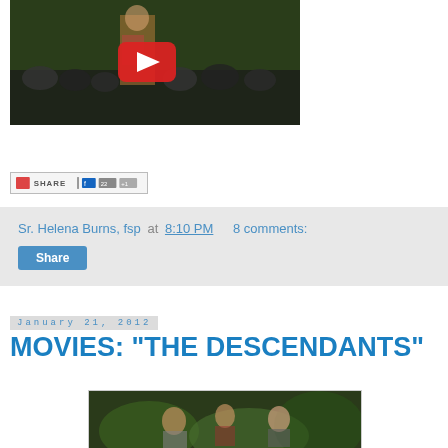[Figure (screenshot): YouTube video thumbnail showing a person on stage in front of a green screen with a crowd in the background. Red YouTube play button visible.]
[Figure (screenshot): Share bar with social sharing icons and buttons]
Sr. Helena Burns, fsp at 8:10 PM    8 comments:
Share
January 21, 2012
MOVIES: "THE DESCENDANTS"
[Figure (photo): Movie still from The Descendants showing actors in an outdoor wooded setting]